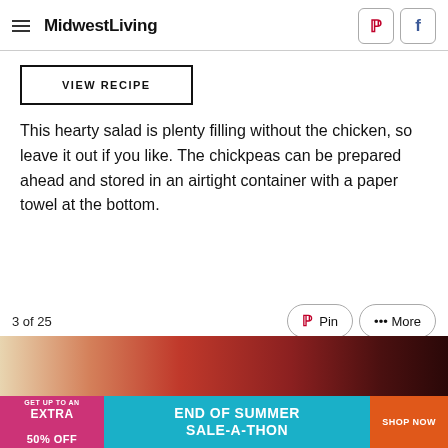MidwestLiving
VIEW RECIPE
This hearty salad is plenty filling without the chicken, so leave it out if you like. The chickpeas can be prepared ahead and stored in an airtight container with a paper towel at the bottom.
3 of 25
[Figure (photo): Food photo strip showing a bowl with orange/red soup or sauce and garnished dish]
[Figure (infographic): Advertisement banner: GET UP TO AN EXTRA 50% OFF | END OF SUMMER SALE-A-THON | SHOP NOW]